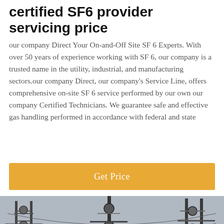certified SF6 provider servicing price
our company Direct Your On-and-Off Site SF 6 Experts. With over 50 years of experience working with SF 6, our company is a trusted name in the utility, industrial, and manufacturing sectors.our company Direct, our company's Service Line, offers comprehensive on-site SF 6 service performed by our own our company Certified Technicians. We guarantee safe and effective gas handling performed in accordance with federal and state
[Figure (other): Orange 'Get Price' button bar]
[Figure (photo): Photo of electrical power transmission towers with a customer service representative avatar, and chat/message footer bar]